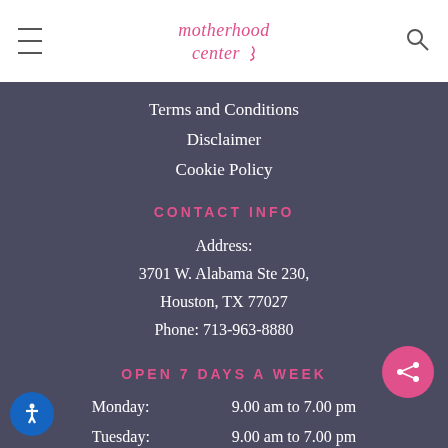motherhood center
Terms and Conditions
Disclaimer
Cookie Policy
CONTACT INFO
Address:
3701 W. Alabama Ste 230,
Houston, TX 77027
Phone: 713-963-8880
OPEN 7 DAYS A WEEK
Monday:   9.00 am to 7.00 pm
Tuesday:  9.00 am to 7.00 pm